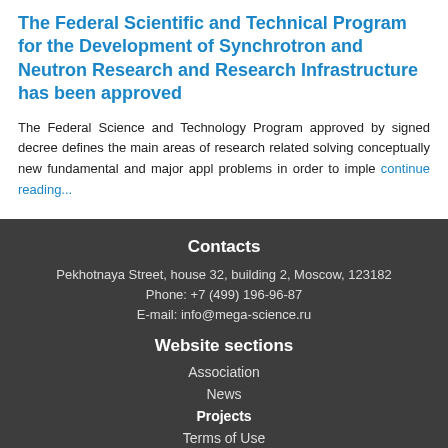The Federal Scientific and Technical Program for the Development of Synchrotron and Neutron Research and Research Infrastructure has been approved
The Federal Science and Technology Program approved by signed decree defines the main areas of research related solving conceptually new fundamental and major appl problems in order to imple continue reading...
Contacts
Pekhotnaya Street, house 32, building 2, Moscow, 123182
Phone: +7 (499) 196-96-87
E-mail: info@mega-science.ru
Website sections
Association
News
Projects
Terms of Use